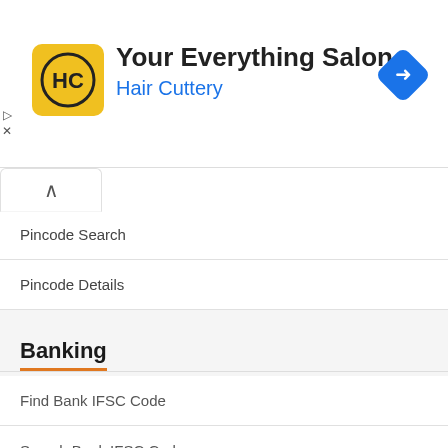[Figure (logo): Hair Cuttery advertisement banner with HC logo, 'Your Everything Salon' title, 'Hair Cuttery' subtitle in blue, and a blue diamond navigation arrow icon]
Pincode Search
Pincode Details
Banking
Find Bank IFSC Code
Search Bank IFSC Code
Find Bank MICR Code